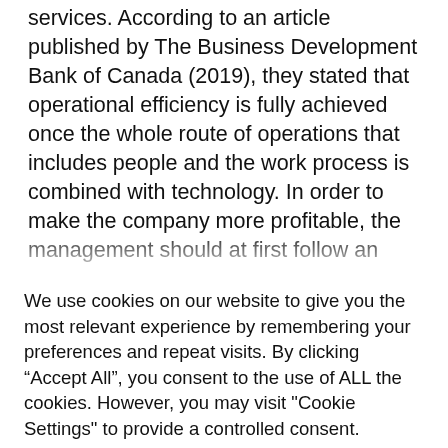...services. According to an article published by The Business Development Bank of Canada (2019), they stated that operational efficiency is fully achieved once the whole route of operations that includes people and the work process is combined with technology. In order to make the company more profitable, the management should at first follow an assessment of the current efficiency at the business, second, cut costs
We use cookies on our website to give you the most relevant experience by remembering your preferences and repeat visits. By clicking “Accept All”, you consent to the use of ALL the cookies. However, you may visit "Cookie Settings" to provide a controlled consent.